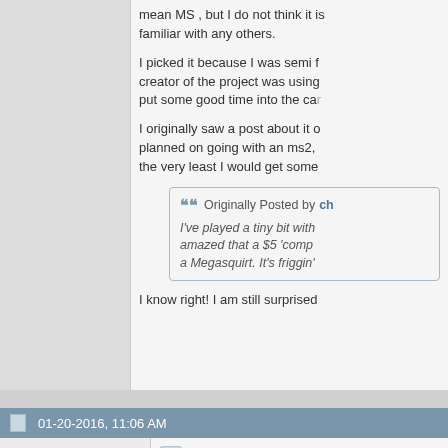mean MS , but I do not think it is familiar with any others.
I picked it because I was semi f creator of the project was using put some good time into the car
I originally saw a post about it o planned on going with an ms2, the very least I would get some
Originally Posted by ch
I've played a tiny bit with amazed that a $5 'comp a Megasquirt. It's friggin'
I know right! I am still surprised
01-20-2016, 11:06 AM
andrey
Tire Warmer
I am with http://rusefi.com/wiki/i there is also http://www.diyefi.or one. MS is obviously not ope